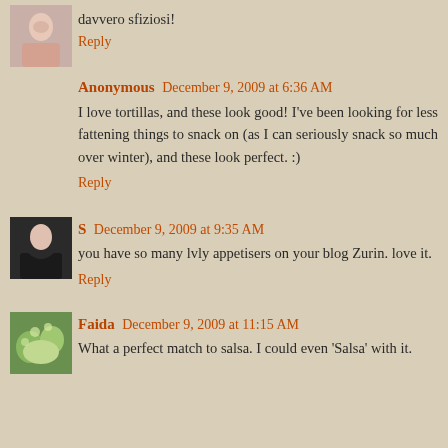davvero sfiziosi!
Reply
Anonymous December 9, 2009 at 6:36 AM
I love tortillas, and these look good! I've been looking for less fattening things to snack on (as I can seriously snack so much over winter), and these look perfect. :)
Reply
S December 9, 2009 at 9:35 AM
you have so many lvly appetisers on your blog Zurin. love it.
Reply
Faida December 9, 2009 at 11:15 AM
What a perfect match to salsa. I could even 'Salsa' with it.